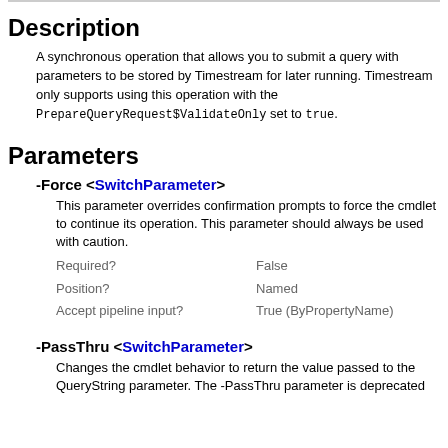Description
A synchronous operation that allows you to submit a query with parameters to be stored by Timestream for later running. Timestream only supports using this operation with the PrepareQueryRequest$ValidateOnly set to true.
Parameters
-Force <SwitchParameter>
This parameter overrides confirmation prompts to force the cmdlet to continue its operation. This parameter should always be used with caution.
| Property | Value |
| --- | --- |
| Required? | False |
| Position? | Named |
| Accept pipeline input? | True (ByPropertyName) |
-PassThru <SwitchParameter>
Changes the cmdlet behavior to return the value passed to the QueryString parameter. The -PassThru parameter is deprecated